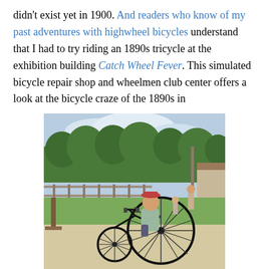didn't exist yet in 1900. And readers who know of my past adventures with highwheel bicycles understand that I had to try riding an 1890s tricycle at the exhibition building Catch Wheel Fever. This simulated bicycle repair shop and wheelmen club center offers a look at the bicycle craze of the 1890s in
[Figure (photo): A person riding a high-wheel tricycle (penny-farthing style) outdoors at what appears to be a historical village or park. The rider wears a striped shirt and red cap. Background shows green trees, grass, fencing, and a building on the right.]
Wisconsin. Unfortunately for me, the two young